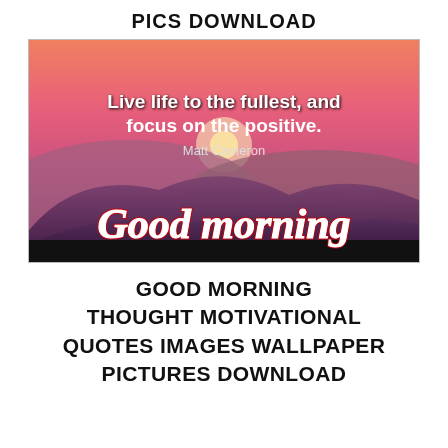PICS DOWNLOAD
[Figure (illustration): A motivational good morning image with a sunrise/sunset over purple mountains. White bold text reads 'Live life to the fullest, and focus on the positive.' with 'Matt Cameron' below it. Red cursive script at the bottom reads 'Good morning'.]
GOOD MORNING THOUGHT MOTIVATIONAL QUOTES IMAGES WALLPAPER PICTURES DOWNLOAD